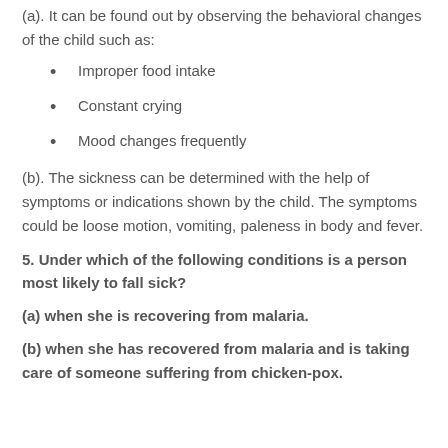(a). It can be found out by observing the behavioral changes of the child such as:
Improper food intake
Constant crying
Mood changes frequently
(b). The sickness can be determined with the help of symptoms or indications shown by the child. The symptoms could be loose motion, vomiting, paleness in body and fever.
5. Under which of the following conditions is a person most likely to fall sick?
(a) when she is recovering from malaria.
(b) when she has recovered from malaria and is taking care of someone suffering from chicken-pox.